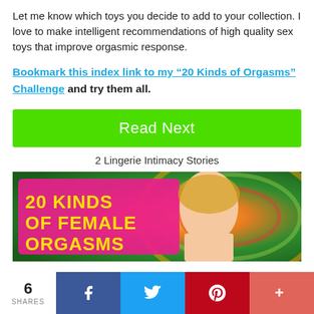Let me know which toys you decide to add to your collection. I love to make intelligent recommendations of high quality sex toys that improve orgasmic response.
Bookmark this index link to my “20 Kinds of Orgasms” Challenge and try them all.
[Figure (other): Green 'Read Next' button]
2 Lingerie Intimacy Stories
[Figure (photo): Promotional image for '20 Kinds of Female Orgasms' featuring a woman with blonde hair against a colorful swirl background with pink text overlay.]
6 SHARES | Facebook | Twitter | Pinterest | More